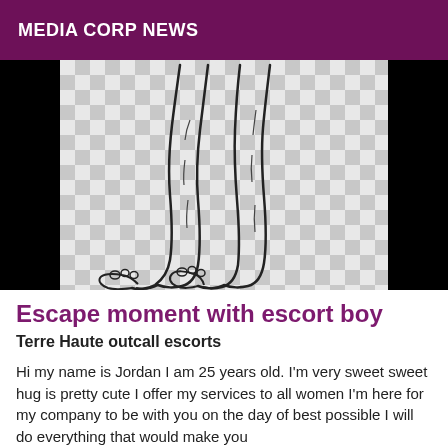MEDIA CORP NEWS
[Figure (illustration): Line drawing of two human legs and feet on a checkered background, with black bars on left and right sides.]
Escape moment with escort boy
Terre Haute outcall escorts
Hi my name is Jordan I am 25 years old. I'm very sweet sweet hug is pretty cute I offer my services to all women I'm here for my company to be with you on the day of best possible I will do everything that would make you